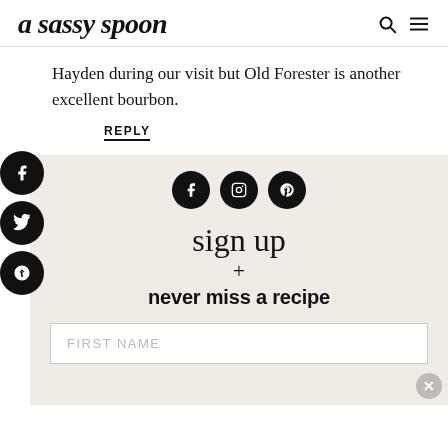a sassy spoon
Hayden during our visit but Old Forester is another excellent bourbon.
REPLY
[Figure (infographic): Newsletter signup box with social icons (Facebook, Instagram, Pinterest), script text reading 'sign up', a plus sign, bold text 'never miss a recipe', and a FIRST NAME input field. Social share buttons (Facebook, Twitter, Pinterest) appear on the left sidebar.]